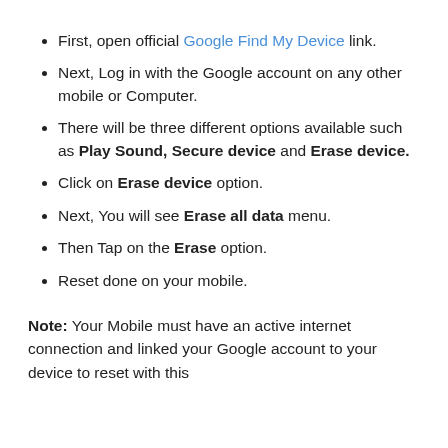First, open official Google Find My Device link.
Next, Log in with the Google account on any other mobile or Computer.
There will be three different options available such as Play Sound, Secure device and Erase device.
Click on Erase device option.
Next, You will see Erase all data menu.
Then Tap on the Erase option.
Reset done on your mobile.
Note: Your Mobile must have an active internet connection and linked your Google account to your device to reset with this